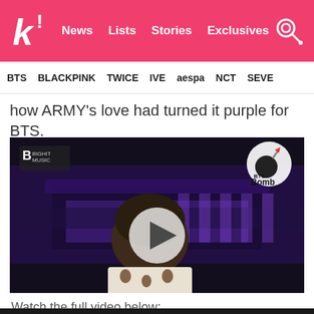k! News Lists Stories Exclusives
BTS BLACKPINK TWICE IVE aespa NCT SEVE
how ARMY's love had turned it purple for BTS.
[Figure (screenshot): BTS Bomb video thumbnail showing a person in a floral white shirt with a purple-lit Korean palace building in the background, with a play button overlay]
Watch the full video below: